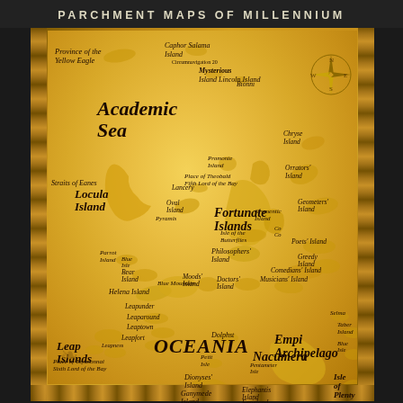PARCHMENT MAPS OF MILLENNIUM
[Figure (map): Fantasy parchment map showing Academic Sea, Fortunate Islands, Oceania, Empi Archipelago, Nacumera, Leap Islands, and numerous named fantasy islands and locations with decorative border and compass rose]